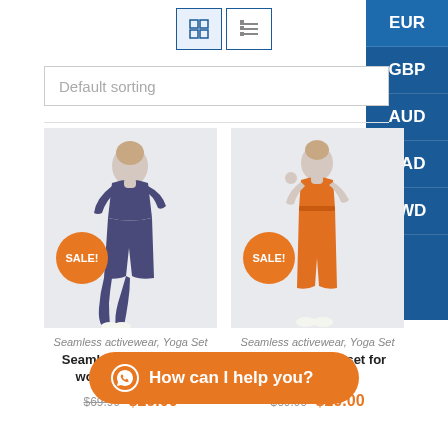[Figure (screenshot): View toggle buttons (grid and list icons) and currency sidebar with EUR, GBP, AUD, CAD, TWD options on the right]
Default sorting
[Figure (photo): Woman wearing navy seamless yoga set in a pose, with SALE! badge in orange circle]
[Figure (photo): Woman wearing orange seamless yoga set standing, with SALE! badge in orange circle]
Seamless activewear, Yoga Set
Seamless activewear, Yoga Set
Seamless yoga set for women navy Park
Seamless yoga set for women Park
$69.99  $29.00
$69.99  $29.00
How can I help you?